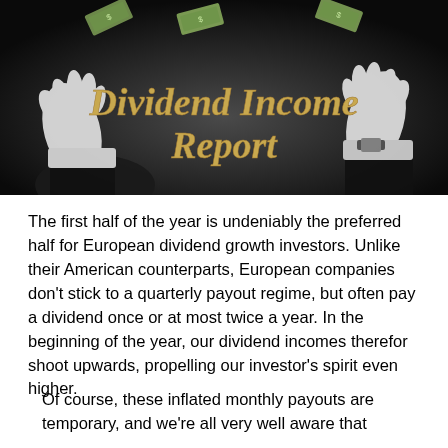[Figure (illustration): Banner image with dark background showing two raised white-gloved hands with money bills floating, and gold cursive text reading 'Dividend Income Report']
The first half of the year is undeniably the preferred half for European dividend growth investors. Unlike their American counterparts, European companies don't stick to a quarterly payout regime, but often pay a dividend once or at most twice a year. In the beginning of the year, our dividend incomes therefor shoot upwards, propelling our investor's spirit even higher.
Of course, these inflated monthly payouts are temporary, and we're all very well aware that